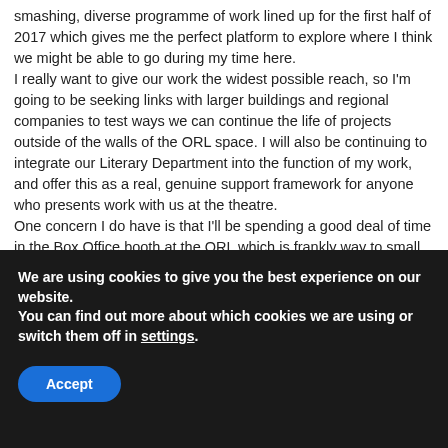smashing, diverse programme of work lined up for the first half of 2017 which gives me the perfect platform to explore where I think we might be able to go during my time here. I really want to give our work the widest possible reach, so I'm going to be seeking links with larger buildings and regional companies to test ways we can continue the life of projects outside of the walls of the ORL space. I will also be continuing to integrate our Literary Department into the function of my work, and offer this as a real, genuine support framework for anyone who presents work with us at the theatre. One concern I do have is that I'll be spending a good deal of time in the Box Office booth at the ORL which is frankly way to small to house my clumsy frame. Stewart took a photo of me in
We are using cookies to give you the best experience on our website.
You can find out more about which cookies we are using or switch them off in settings.
Accept